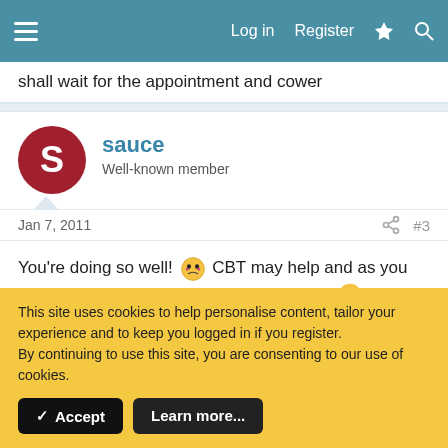Log in  Register
shall wait for the appointment and cower
sauce
Well-known member
Jan 7, 2011  #3
You're doing so well! 🌝 CBT may help and as you say worth giving a go! It may work for this 🙂
Keep us updated 😁
This site uses cookies to help personalise content, tailor your experience and to keep you logged in if you register.
By continuing to use this site, you are consenting to our use of cookies.